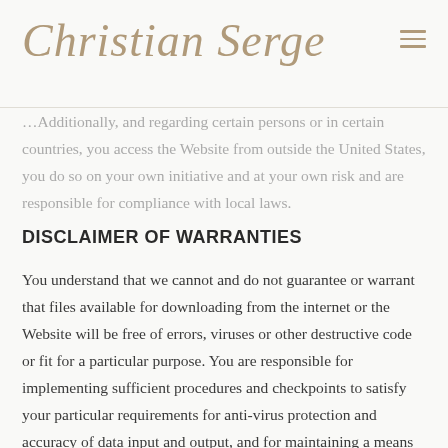Christian Serge
…Additionally, and regarding certain persons or in certain countries, you access the Website from outside the United States, you do so on your own initiative and at your own risk and are responsible for compliance with local laws.
DISCLAIMER OF WARRANTIES
You understand that we cannot and do not guarantee or warrant that files available for downloading from the internet or the Website will be free of errors, viruses or other destructive code or fit for a particular purpose. You are responsible for implementing sufficient procedures and checkpoints to satisfy your particular requirements for anti-virus protection and accuracy of data input and output, and for maintaining a means external to our site for any reconstruction of any lost data. TO THE FULLEST EXTENT